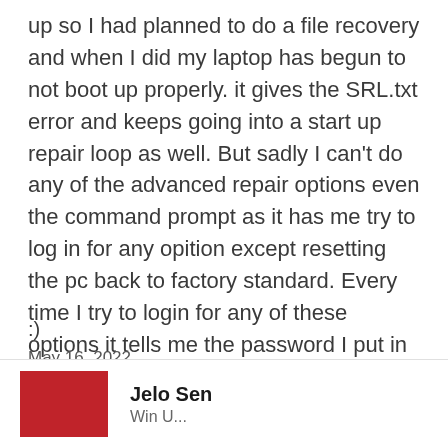up so I had planned to do a file recovery and when I did my laptop has begun to not boot up properly. it gives the SRL.txt error and keeps going into a start up repair loop as well. But sadly I can't do any of the advanced repair options even the command prompt as it has me try to log in for any opition except resetting the pc back to factory standard. Every time I try to login for any of these options it tells me the password I put in is incorrect even though the password is the correct one. Would anyon
:)
May 16, 2022
Jelo Sen